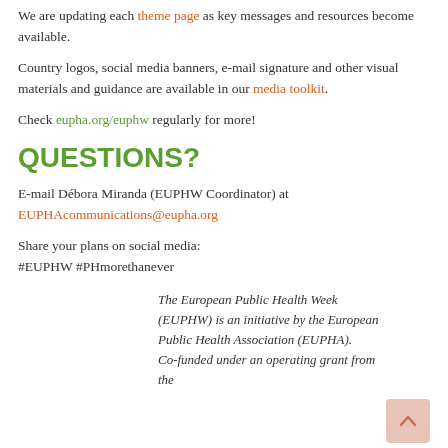We are updating each theme page as key messages and resources become available.
Country logos, social media banners, e-mail signature and other visual materials and guidance are available in our media toolkit.
Check eupha.org/euphw regularly for more!
QUESTIONS?
E-mail Débora Miranda (EUPHW Coordinator) at EUPHAcommunications@eupha.org
Share your plans on social media:
#EUPHW #PHmorethanever
The European Public Health Week (EUPHW) is an initiative by the European Public Health Association (EUPHA).
Co-funded under an operating grant from the